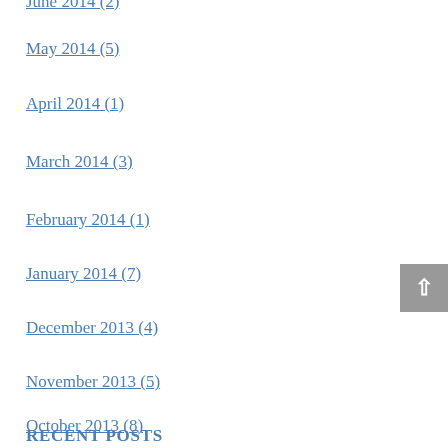June 2014 (2)
May 2014 (5)
April 2014 (1)
March 2014 (3)
February 2014 (1)
January 2014 (7)
December 2013 (4)
November 2013 (5)
October 2013 (8)
RECENT POSTS